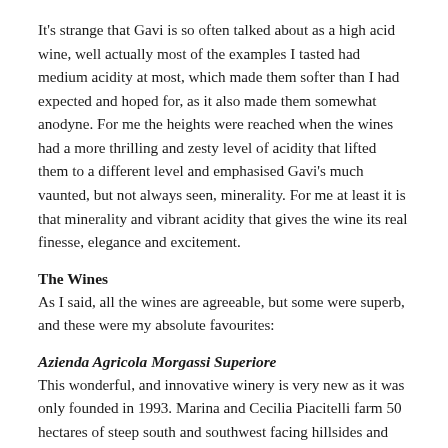It's strange that Gavi is so often talked about as a high acid wine, well actually most of the examples I tasted had medium acidity at most, which made them softer than I had expected and hoped for, as it also made them somewhat anodyne. For me the heights were reached when the wines had a more thrilling and zesty level of acidity that lifted them to a different level and emphasised Gavi's much vaunted, but not always seen, minerality. For me at least it is that minerality and vibrant acidity that gives the wine its real finesse, elegance and excitement.
The Wines
As I said, all the wines are agreeable, but some were superb, and these were my absolute favourites:
Azienda Agricola Morgassi Superiore
This wonderful, and innovative winery is very new as it was only founded in 1993. Marina and Cecilia Piacitelli farm 50 hectares of steep south and southwest facing hillsides and have achieved amazing success in that short time. I really liked all Morgassi's